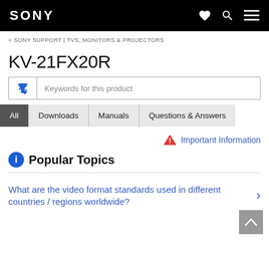SONY
< SONY SUPPORT | TVS, MONITORS & PROJECTORS
KV-21FX20R
Keywords for this product
All | Downloads | Manuals | Questions & Answers
Important Information
Popular Topics
What are the video format standards used in different countries / regions worldwide?